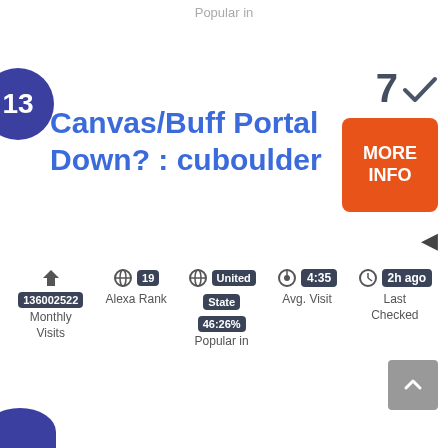Popular in
13
Canvas/Buff Portal Down? : cuboulder
7 ✓
MORE INFO
136002522 Monthly Visits
19 Alexa Rank
United State Popular in 46:26%
4:35 Avg. Visit
2h ago Last Checked